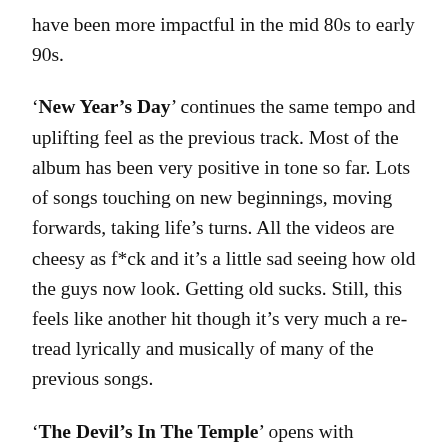have been more impactful in the mid 80s to early 90s.
'New Year's Day' continues the same tempo and uplifting feel as the previous track. Most of the album has been very positive in tone so far. Lots of songs touching on new beginnings, moving forwards, taking life's turns. All the videos are cheesy as f*ck and it's a little sad seeing how old the guys now look. Getting old sucks. Still, this feels like another hit though it's very much a re-tread lyrically and musically of many of the previous songs.
'The Devil's In The Temple' opens with Physical Graffiti era chords before plunging into an optimistic slow tempo rock verse. The tempo has the vibe of a deeper urgency bubbling beneath the surface, as if a faster beat wants to unleash but is being held down. The